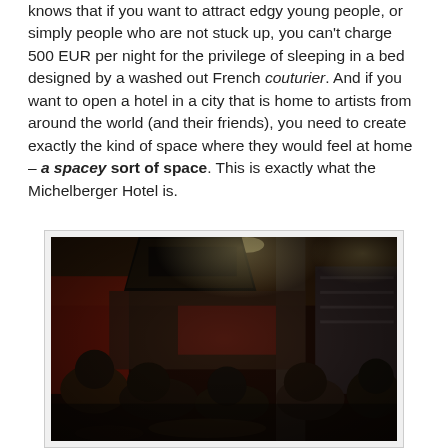knows that if you want to attract edgy young people, or simply people who are not stuck up, you can't charge 500 EUR per night for the privilege of sleeping in a bed designed by a washed out French couturier. And if you want to open a hotel in a city that is home to artists from around the world (and their friends), you need to create exactly the kind of space where they would feel at home – a spacey sort of space. This is exactly what the Michelberger Hotel is.
[Figure (photo): Interior photo of the Michelberger Hotel showing a crowded bar/lounge area with people sitting and socializing. Large industrial-style pendant lamps hang from the ceiling. The image has a dark, warm toned, high-contrast look typical of HDR photography.]